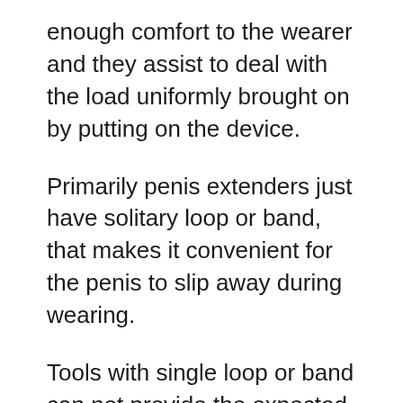enough comfort to the wearer and they assist to deal with the load uniformly brought on by putting on the device.
Primarily penis extenders just have solitary loop or band, that makes it convenient for the penis to slip away during wearing.
Tools with single loop or band can not provide the expected results. With the silicone tubes, the penis continues to be in a much better setting and also the stress is preserved correctly. These functions make the Quick Extender Pro the best device to get maximum gains. The device holds 3 attributes that make it stick out; the period of use, establishing precision and level of stress. The DSS system of Quick Extender